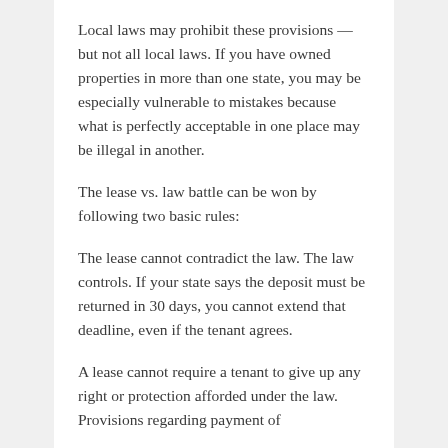Local laws may prohibit these provisions — but not all local laws. If you have owned properties in more than one state, you may be especially vulnerable to mistakes because what is perfectly acceptable in one place may be illegal in another.
The lease vs. law battle can be won by following two basic rules:
The lease cannot contradict the law. The law controls. If your state says the deposit must be returned in 30 days, you cannot extend that deadline, even if the tenant agrees.
A lease cannot require a tenant to give up any right or protection afforded under the law. Provisions regarding payment of